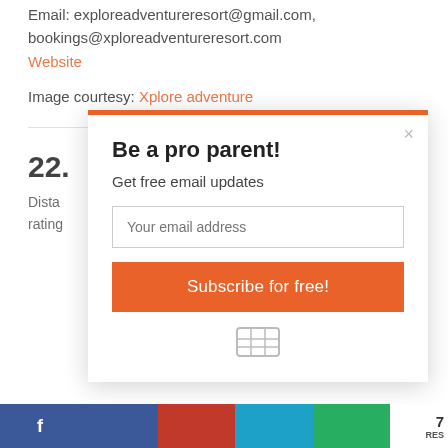Email: exploreadventureresort@gmail.com, bookings@xploreadventureresort.com
Website
Image courtesy: Xplore adventure
22.
Dista... rating...
[Figure (screenshot): Modal popup with orange top border. Title: 'Be a pro parent!', subtitle: 'Get free email updates', email input field 'Your email address', orange 'Subscribe for free!' button, and a grid icon below.]